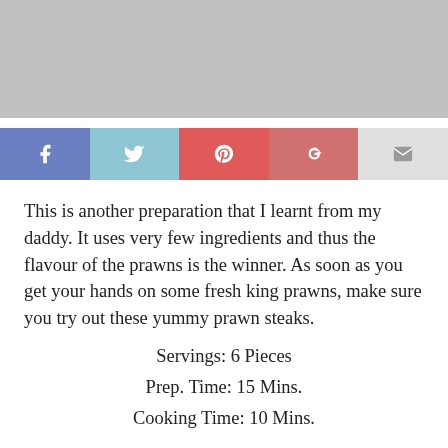[Figure (photo): Gray placeholder image at top of page]
[Figure (infographic): Social media sharing buttons: Facebook (blue), Twitter (light blue), Pinterest (red), Google+ (rose/red), Email (gray)]
This is another preparation that I learnt from my daddy. It uses very few ingredients and thus the flavour of the prawns is the winner. As soon as you get your hands on some fresh king prawns, make sure you try out these yummy prawn steaks.
Servings: 6 Pieces
Prep. Time: 15 Mins.
Cooking Time: 10 Mins.